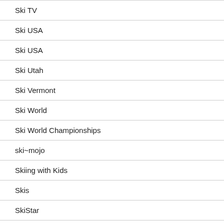Ski TV
Ski USA
Ski USA
Ski Utah
Ski Vermont
Ski World
Ski World Championships
ski~mojo
Skiing with Kids
Skis
SkiStar